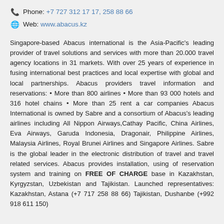Phone: +7 727 312 17 17, 258 88 66
Web: www.abacus.kz
Singapore-based Abacus international is the Asia-Pacific's leading provider of travel solutions and services with more than 20.000 travel agency locations in 31 markets. With over 25 years of experience in fusing international best practices and local expertise with global and local partnerships. Abacus providers travel information and reservations: • More than 800 airlines • More than 93 000 hotels and 316 hotel chains • More than 25 rent a car companies Abacus International is owned by Sabre and a consortium of Abacus's leading airlines including All Nippon Airways,Cathay Pacific, China Airlines, Eva Airways, Garuda Indonesia, Dragonair, Philippine Airlines, Malaysia Airlines, Royal Brunei Airlines and Singapore Airlines. Sabre is the global leader in the electronic distribution of travel and travel related services. Abacus provides installation, using of reservation system and training on FREE OF CHARGE base in Kazakhstan, Kyrgyzstan, Uzbekistan and Tajikistan. Launched representatives: Kazakhstan, Astana (+7 717 258 88 66) Tajikistan, Dushanbe (+992 918 611 150)